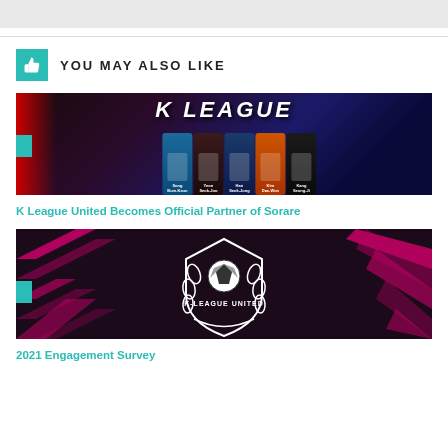[Figure (screenshot): Top banner/header area gray bar]
YOU MAY ALSO LIKE
[Figure (photo): K League promotional banner showing player cards against blue and red background with K LEAGUE text]
K League United Becomes Official Partner of Sorare
[Figure (photo): K-League United logo on dark background with pink/magenta diagonal streaks]
2021 Engagement Survey